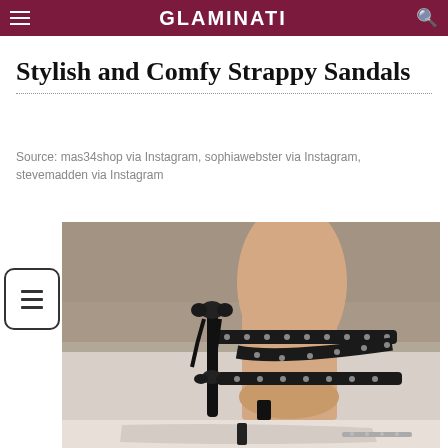GLAMINATI
Stylish and Comfy Strappy Sandals
Source: mas34shop via Instagram, sophiawebster via Instagram, stevemadden via Instagram
[Figure (photo): Close-up photo of a woman's leg wearing black strappy high-heel sandals with studded straps and velvet bow tie detail, photographed against a light background]
[Figure (photo): Bottom portion of the strappy sandal showing the heel and base, partially visible]